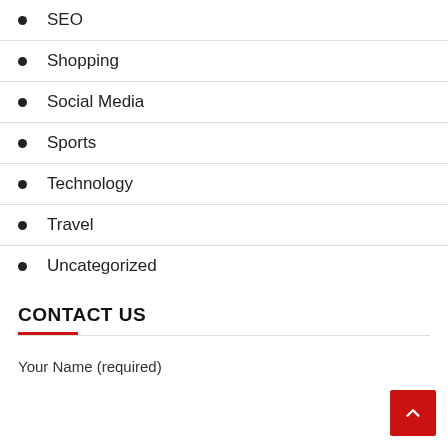SEO
Shopping
Social Media
Sports
Technology
Travel
Uncategorized
CONTACT US
Your Name (required)